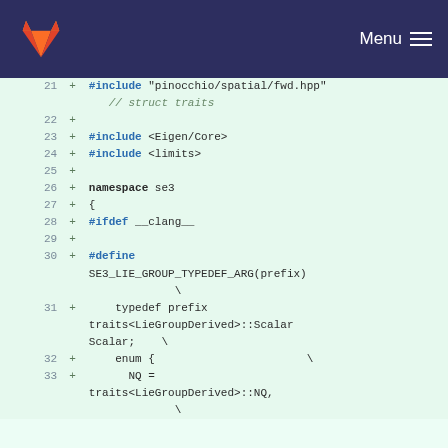GitLab Menu
[Figure (screenshot): Code diff view showing C++ header file with lines 21-33, displaying #include directives, namespace se3 declaration, #ifdef __clang__, #define SE3_LIE_GROUP_TYPEDEF_ARG(prefix) macro definition with typedef and enum entries]